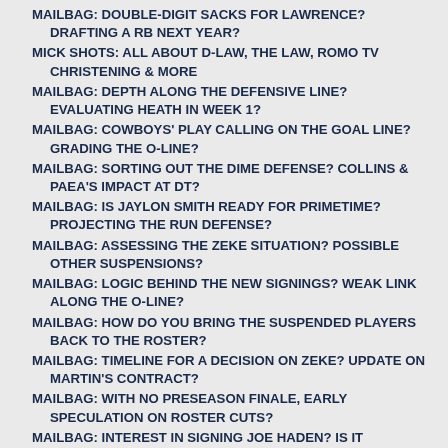MAILBAG: DOUBLE-DIGIT SACKS FOR LAWRENCE? DRAFTING A RB NEXT YEAR?
MICK SHOTS: ALL ABOUT D-LAW, THE LAW, ROMO TV CHRISTENING & MORE
MAILBAG: DEPTH ALONG THE DEFENSIVE LINE? EVALUATING HEATH IN WEEK 1?
MAILBAG: COWBOYS' PLAY CALLING ON THE GOAL LINE? GRADING THE O-LINE?
MAILBAG: SORTING OUT THE DIME DEFENSE? COLLINS & PAEA'S IMPACT AT DT?
MAILBAG: IS JAYLON SMITH READY FOR PRIMETIME? PROJECTING THE RUN DEFENSE?
MAILBAG: ASSESSING THE ZEKE SITUATION? POSSIBLE OTHER SUSPENSIONS?
MAILBAG: LOGIC BEHIND THE NEW SIGNINGS? WEAK LINK ALONG THE O-LINE?
MAILBAG: HOW DO YOU BRING THE SUSPENDED PLAYERS BACK TO THE ROSTER?
MAILBAG: TIMELINE FOR A DECISION ON ZEKE? UPDATE ON MARTIN'S CONTRACT?
MAILBAG: WITH NO PRESEASON FINALE, EARLY SPECULATION ON ROSTER CUTS?
MAILBAG: INTEREST IN SIGNING JOE HADEN? IS IT NECESSARY TO KEEP